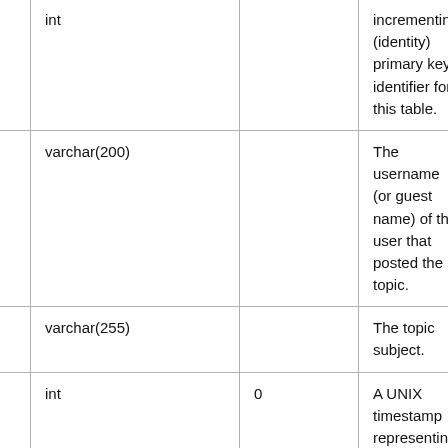| Column | Type | Default | Description |
| --- | --- | --- | --- |
| id | int |  | incrementing (identity) primary key identifier for this table. |
| poster | varchar(200) |  | The username (or guest name) of the user that posted the topic. |
| subject | varchar(255) |  | The topic subject. |
| posted | int | 0 | A UNIX timestamp representing the date/time the topic was posted. |
|  |  |  | A UNIX timestamp... |